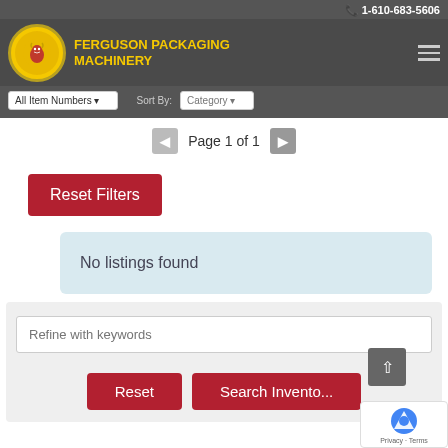1-610-683-5606
[Figure (logo): Ferguson Packaging Machinery logo with lion emblem and yellow text]
All Item Numbers | Sort By: Category
Page 1 of 1
Reset Filters
No listings found
Refine with keywords
Reset
Search Inventory